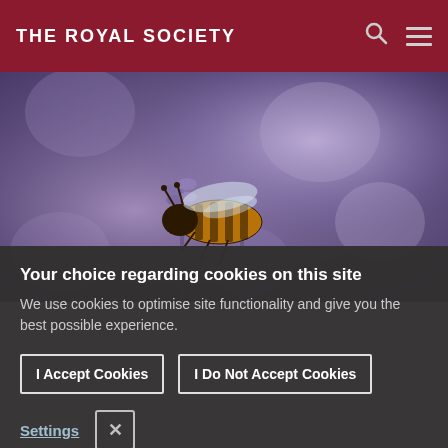THE ROYAL SOCIETY
[Figure (photo): Close-up photo of a honeybee on purple lavender flowers with a blurred purple background]
Your choice regarding cookies on this site
We use cookies to optimise site functionality and give you the best possible experience.
I Accept Cookies
I Do Not Accept Cookies
Settings